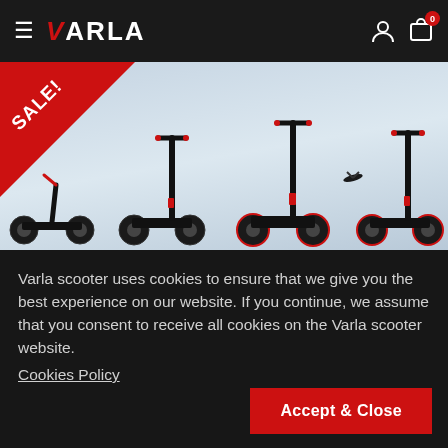≡ VARLA [user icon] [bag icon] 0
[Figure (photo): Hero banner showing four electric scooters in various folded and upright positions against a light blue-gray gradient background, with a red triangular SALE! badge in the top-left corner.]
Varla scooter uses cookies to ensure that we give you the best experience on our website. If you continue, we assume that you consent to receive all cookies on the Varla scooter website. Cookies Policy
Accept & Close